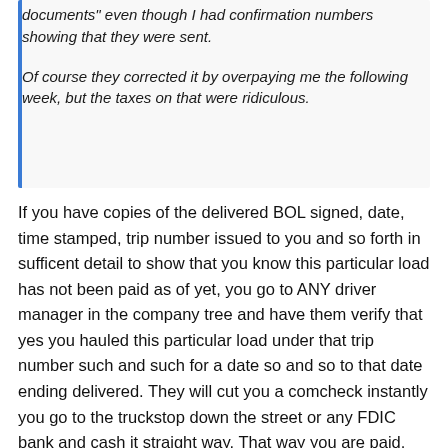documents" even though I had confirmation numbers showing that they were sent.

Of course they corrected it by overpaying me the following week, but the taxes on that were ridiculous.
If you have copies of the delivered BOL signed, date, time stamped, trip number issued to you and so forth in sufficent detail to show that you know this particular load has not been paid as of yet, you go to ANY driver manager in the company tree and have them verify that yes you hauled this particular load under that trip number such and such for a date so and so to that date ending delivered. They will cut you a comcheck instantly you go to the truckstop down the street or any FDIC bank and cash it straight way. That way you are paid. And whatever excuses that payroll bleats about papers lost, dog ate it or whatever is moot. You hauled it, they know it in their computers that you did indeed delvier it and know the HHG or CPS miles and pay you minus withholding